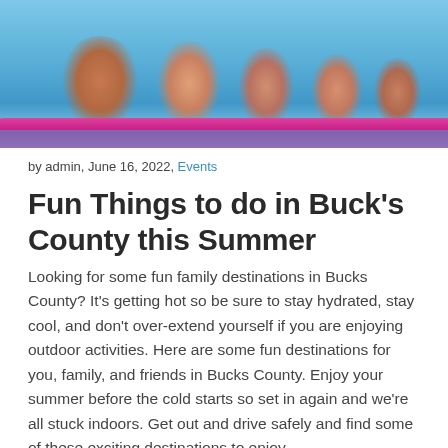[Figure (photo): Family of people floating on a pink inflatable raft in a swimming pool or water park, viewed from the side, water visible in foreground]
by admin, June 16, 2022, Events
Fun Things to do in Buck’s County this Summer
Looking for some fun family destinations in Bucks County? It’s getting hot so be sure to stay hydrated, stay cool, and don’t over-extend yourself if you are enjoying outdoor activities. Here are some fun destinations for you, family, and friends in Bucks County. Enjoy your summer before the cold starts so set in again and we’re all stuck indoors. Get out and drive safely and find some of these exciting destinations to enjoy.